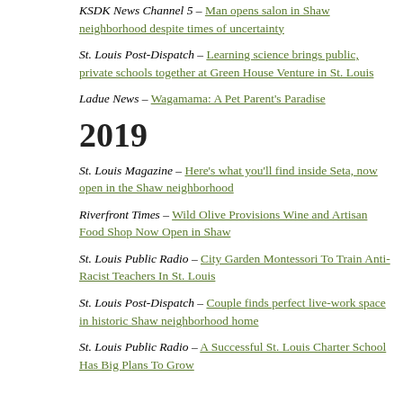KSDK News Channel 5 – Man opens salon in Shaw neighborhood despite times of uncertainty
St. Louis Post-Dispatch – Learning science brings public, private schools together at Green House Venture in St. Louis
Ladue News – Wagamama: A Pet Parent's Paradise
2019
St. Louis Magazine – Here's what you'll find inside Seta, now open in the Shaw neighborhood
Riverfront Times – Wild Olive Provisions Wine and Artisan Food Shop Now Open in Shaw
St. Louis Public Radio – City Garden Montessori To Train Anti-Racist Teachers In St. Louis
St. Louis Post-Dispatch – Couple finds perfect live-work space in historic Shaw neighborhood home
St. Louis Public Radio – A Successful St. Louis Charter School Has Big Plans To Grow